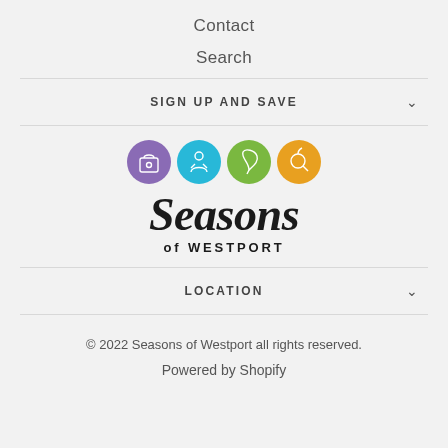Contact
Search
SIGN UP AND SAVE
[Figure (logo): Seasons of Westport logo: four colored circles (purple, teal/blue, green, orange) above the italic text 'Seasons' and smaller caps text 'of WESTPORT']
LOCATION
© 2022 Seasons of Westport all rights reserved.
Powered by Shopify